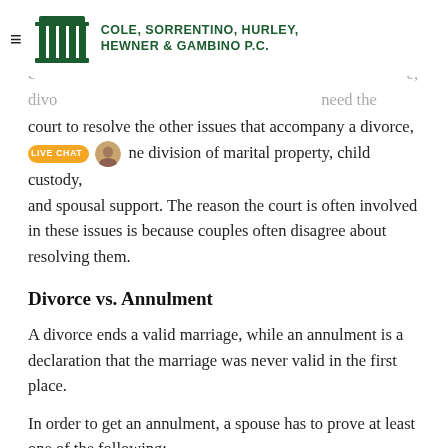[Figure (logo): Cole, Sorrentino, Hurley, Hewner & Gambino P.C. law firm logo with green classical columns icon and firm name in green uppercase text. Hamburger menu icon on the left. Live chat badge with avatar overlaid.]
The purpose of the court is to grant the divorce. Only when couples don't comply with the needs, they need the court to resolve the other issues that accompany a divorce, such as the division of marital property, child custody, and spousal support. The reason the court is often involved in these issues is because couples often disagree about resolving them.
Divorce vs. Annulment
A divorce ends a valid marriage, while an annulment is a declaration that the marriage was never valid in the first place.
In order to get an annulment, a spouse has to prove at least one of the following:
One spouse was currently married to another individual